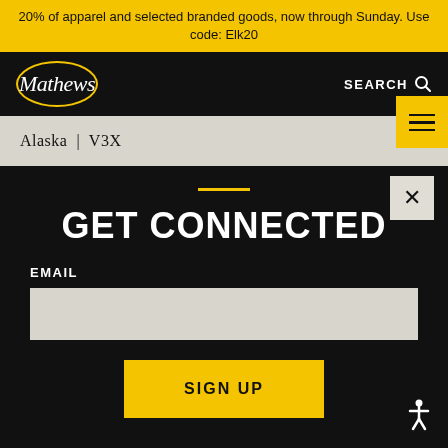20% of apparel and selected branded goods, now through Sunday. Use code: Elk20
[Figure (logo): Mathews archery brand logo — oval with yellow border, italic white script text 'Mathews' inside]
SEARCH
Alaska | V3X
GET CONNECTED
EMAIL
SIGN UP